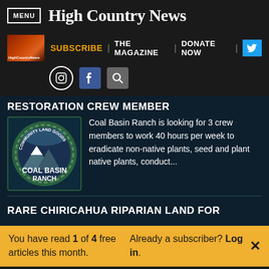MENU | High Country News
SUBSCRIBE | THE MAGAZINE | DONATE NOW
RESTORATION CREW MEMBER
Coal Basin Ranch is looking for 3 crew members to work 40 hours per week to eradicate non-native plants, seed and plant native plants, conduct...
RARE CHIRICAHUA RIPARIAN LAND FOR
You have read 1 of 4 free articles this month. Already a subscriber? Log in.
Support independent journalism. Subscribe